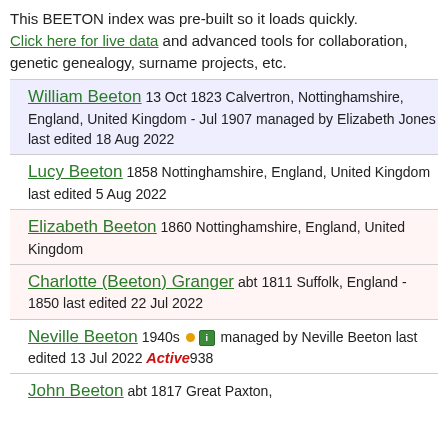This BEETON index was pre-built so it loads quickly. Click here for live data and advanced tools for collaboration, genetic genealogy, surname projects, etc.
William Beeton 13 Oct 1823 Calvertron, Nottinghamshire, England, United Kingdom - Jul 1907 managed by Elizabeth Jones last edited 18 Aug 2022
Lucy Beeton 1858 Nottinghamshire, England, United Kingdom last edited 5 Aug 2022
Elizabeth Beeton 1860 Nottinghamshire, England, United Kingdom
Charlotte (Beeton) Granger abt 1811 Suffolk, England - 1850 last edited 22 Jul 2022
Neville Beeton 1940s • managed by Neville Beeton last edited 13 Jul 2022 Active938
John Beeton abt 1817 Great Paxton,